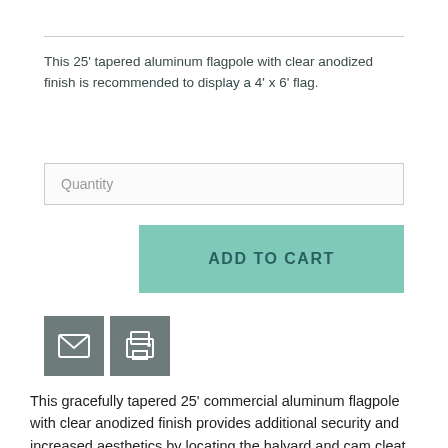This 25' tapered aluminum flagpole with clear anodized finish is recommended to display a 4' x 6' flag.
Quantity
ADD TO CART
[Figure (illustration): Email and print icon buttons in dark teal/grey square boxes]
This gracefully tapered 25' commercial aluminum flagpole with clear anodized finish provides additional security and increased aesthetics by locating the halyard and cam cleat inside the flagpole shaft. The cam cleat locking mechanism used to raise and lower the flag is accessible only through a keyed access